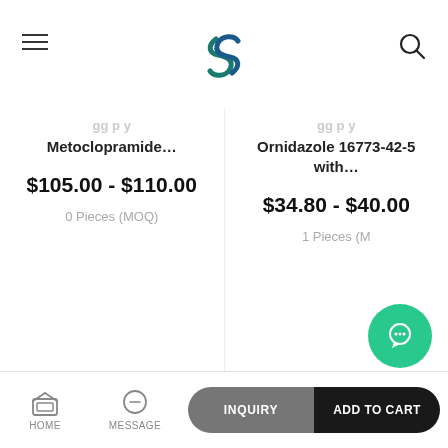Header with menu, logo, search
Metoclopramide...
$105.00 - $110.00
0 Pieces (MOQ)
Ornidazole 16773-42-5 with...
$34.80 - $40.00
1 Pieces (MOQ)
CONTACT US +
PRODUCTS +
INFORMATION +
NEWSLETTER +
HOME | MESSAGE | INQUIRY | ADD TO CART